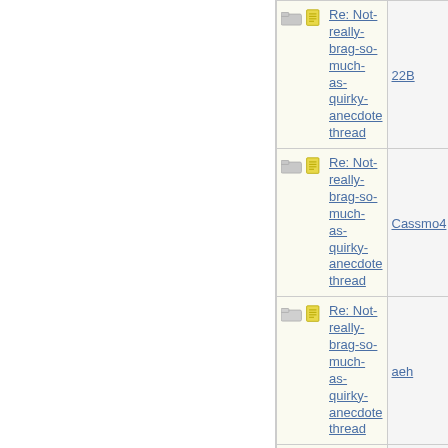| Topic | Author |
| --- | --- |
| Re: Not-really-brag-so-much-as-quirky-anecdote thread | 22B |
| Re: Not-really-brag-so-much-as-quirky-anecdote thread | Cassmo4 |
| Re: Not-really-brag-so-much-as-quirky-anecdote thread | aeh |
| Re: Not-really-brag-so-much-as-quirky-anecdote thread | polarbear |
| Re: Not-really-brag-so-much-as-quirky-anecdote thread | 22B |
| Re: Not-really-brag-so-much-as-quirky-anecdote thread | bmoore4 |
| Re: Not-really-brag-so-much-as-quirky-anecdote thread | Mana... |